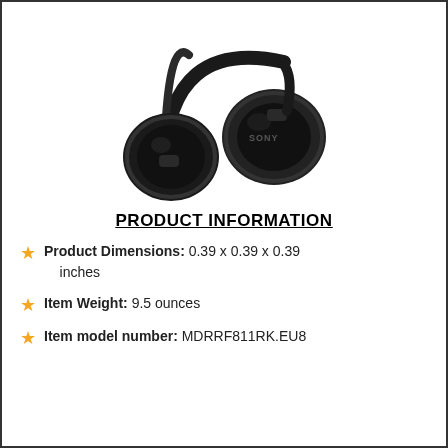[Figure (photo): Sony over-ear wireless headphones in black, shown at an angle with the ear cups and headband visible. 'SONY' branding visible on right ear cup.]
PRODUCT INFORMATION
Product Dimensions: 0.39 x 0.39 x 0.39 inches
Item Weight: 9.5 ounces
Item model number: MDRRF811RK.EU8